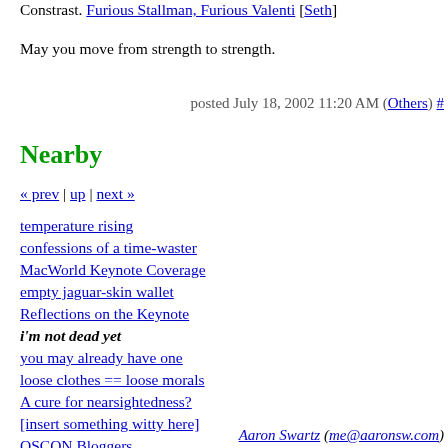Constrast. Furious Stallman, Furious Valenti [Seth]
May you move from strength to strength.
posted July 18, 2002 11:20 AM (Others) #
Nearby
« prev | up | next »
temperature rising
confessions of a time-waster
MacWorld Keynote Coverage
empty jaguar-skin wallet
Reflections on the Keynote
i'm not dead yet
you may already have one
loose clothes == loose morals
A cure for nearsightedness?
[insert something witty here]
OSCON Bloggers
Aaron Swartz (me@aaronsw.com)